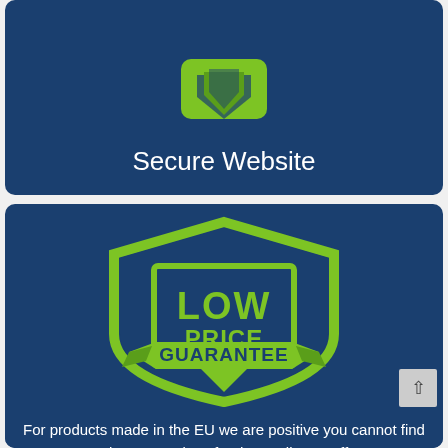[Figure (illustration): Green shield/lock icon on dark blue background representing a secure website]
Secure Website
[Figure (logo): Low Price Guarantee badge/shield logo in green on dark blue background]
For products made in the EU we are positive you cannot find a price comparison for the quality we offer,